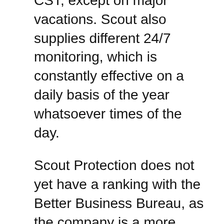CST, except on major vacations. Scout also supplies different 24/7 monitoring, which is constantly effective on a daily basis of the year whatsoever times of the day.
Scout Protection does not yet have a ranking with the Better Business Bureau, as the company is a more recent one. Scout customer evaluations suggest the firm has actually been responsive as well as eager to function with customers experience periodic dependability problems with Scout components.
We likewise discovered Scout Safety and security's customer service to be valuable when we contacted the company to test various facets of its service. Our Security